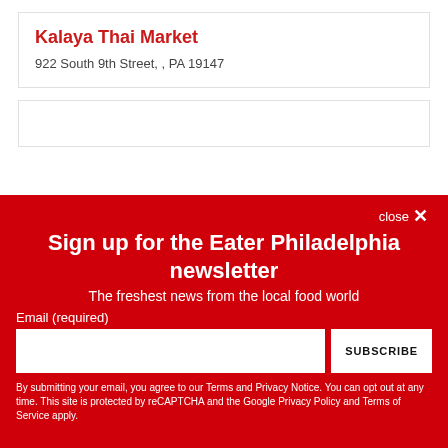Kalaya Thai Market
922 South 9th Street, , PA 19147
close ✕
Sign up for the Eater Philadelphia newsletter
The freshest news from the local food world
Email (required)
SUBSCRIBE
By submitting your email, you agree to our Terms and Privacy Notice. You can opt out at any time. This site is protected by reCAPTCHA and the Google Privacy Policy and Terms of Service apply.